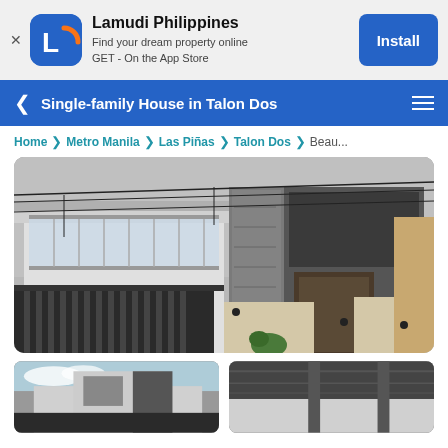[Figure (screenshot): Lamudi Philippines app install banner with logo icon, app name, tagline 'Find your dream property online GET - On the App Store', and blue Install button]
Single-family House in Talon Dos
Home > Metro Manila > Las Piñas > Talon Dos > Beau...
[Figure (photo): Front exterior of a modern two-storey single-family house with glass railings, stone cladding accent, metal gate and fence, in Talon Dos]
[Figure (photo): Left thumbnail: angle view of modern house exterior with dark roof]
[Figure (photo): Right thumbnail: partial close-up view of modern house exterior overhang]